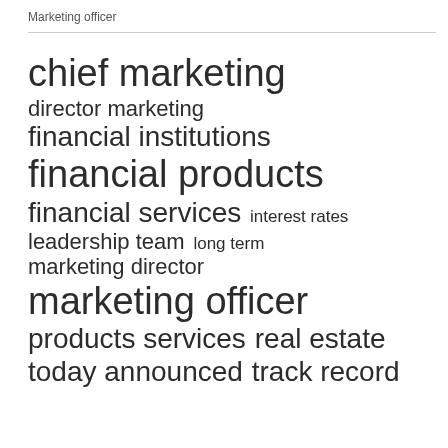Marketing officer
[Figure (infographic): Tag cloud showing marketing-related terms in varying font sizes. Terms include: chief marketing (largest), financial products (large), marketing officer (large), financial services (large), financial institutions (medium), director marketing (medium), leadership team (medium), long term (medium), marketing director (medium), products services (medium), real estate (medium), today announced (medium), track record (medium), interest rates (small).]